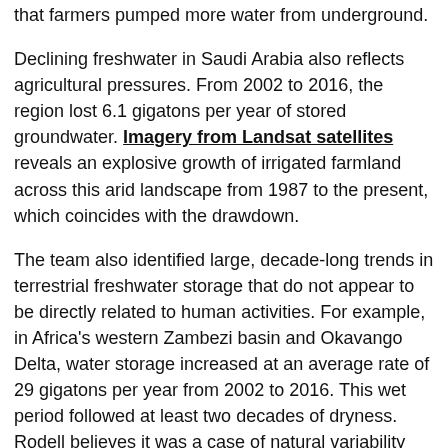that farmers pumped more water from underground.
Declining freshwater in Saudi Arabia also reflects agricultural pressures. From 2002 to 2016, the region lost 6.1 gigatons per year of stored groundwater. Imagery from Landsat satellites reveals an explosive growth of irrigated farmland across this arid landscape from 1987 to the present, which coincides with the drawdown.
The team also identified large, decade-long trends in terrestrial freshwater storage that do not appear to be directly related to human activities. For example, in Africa's western Zambezi basin and Okavango Delta, water storage increased at an average rate of 29 gigatons per year from 2002 to 2016. This wet period followed at least two decades of dryness. Rodell believes it was a case of natural variability that occurs over decades in this region of Africa.
Ellen Gray is part of the NASA Earth Science News Team